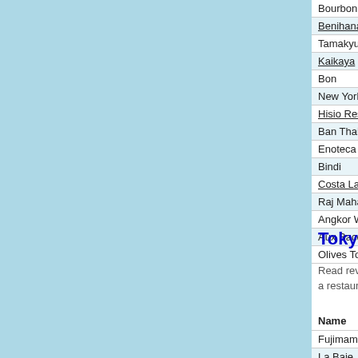| Name | Address | Phone |
| --- | --- | --- |
| Bourbon Street | 7-8-16 Roppongi | 3-3478 84 |
| Benihana | 2-1-14 Nihon Bashi | 3-3241-06 |
| Tamakyu | 2-30-4 Dogenzaka | 3-3461-48 |
| Kaikaya | 23-7 Maruyamachou | 3-3770-08 |
| Bon | 1-2-11 Ryusen | 3-3872 02 |
| New York Grill | 3-7-1-2 Nishi-Shinjuku | 3-5323-34 |
| Hisio Restaurant | 7-13-8 Roppongi | 3-5785-05 |
| Ban Thai | 1-23-14 Kabuki-cho | 3-3207 00 |
| Enoteca Pinchiorri | 8-20 Ginza 5 Chome | 3-3289-80 |
| Bindi | 7-10-10 Minami Aoyama | 3-3409-87 |
| Costa Latina | Shinagawaku oi 1-52-1 | 3-5718-55 |
| Raj Mahal | 30-5 Udagawa-cho | 3-3770-76 |
| Angkor Wat | 1-38-13 Yoyogi | 3-3370 30 |
| Aux Bacchanales | Palais France 1F | 3-5474 00 |
| Olives Tokyo | 6-10-1, Roppongi | 3-5413-95 |
Tokyo Restaurants
Read reviews for some of the best restaurants in Tokyo and find the perfect restaurant for your vacation here. Choose a restaurant by cuisine type or visitor rating.
| Name | Address | Phone |
| --- | --- | --- |
| Fujimamas | 6-3-2 Jingumae | 3-5485 22 |
| La Baie | 2-5-25 Umeda | 6-6343-70 |
| Bourbon Street | 7-8-16 Roppongi | 3-3478 84 |
| Benihana | 2-1-14 Nihon Bashi | 3-3241-06 |
| Tamakyu | 2-30-4 Dogenzaka | 3-3461-48 |
| Kaikaya | 23-7 Maruyamachou | 3-3770-08 |
| Bon | 1-2-11 Ryusen | 3-3872 02 |
| New York Grill | 3-7-1-2 Nishi-Shinjuku | 3-5323-34 |
| Hisio Restaurant | 7-13-8 Roppongi | 3-5785-05 |